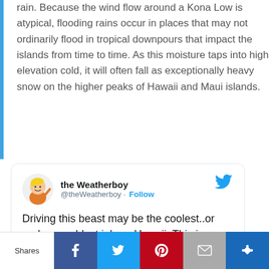rain. Because the wind flow around a Kona Low is atypical, flooding rains occur in places that may not ordinarily flood in tropical downpours that impact the islands from time to time. As this moisture taps into high elevation cold, it will often fall as exceptionally heavy snow on the higher peaks of Hawaii and Maui islands.
[Figure (screenshot): Embedded tweet from @theWeatherboy with avatar illustration of cartoon weatherboy character and Twitter bird logo. Tweet text reads: 'Driving this beast may be the coolest..or perhaps coldest job on Hawaii. This is one of the giant snow plow/throwers resting on the Big Island's Mauna Kea...']
Shares | Facebook | Twitter | Pinterest | Email | (crown/share icon)